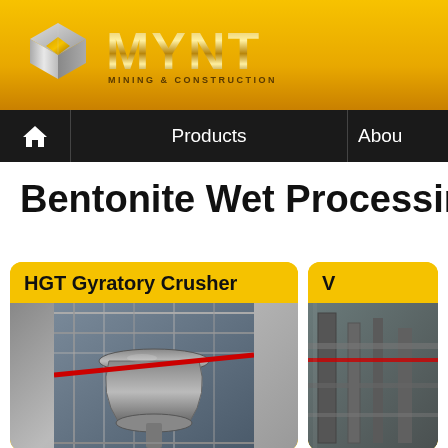[Figure (logo): MYNT Mining & Construction logo with metallic cubic icon and gold metallic MYNT text]
Products | About
Bentonite Wet Processing Plant
HGT Gyratory Crusher
[Figure (photo): Industrial gyratory crusher machinery in a plant, with red pipe visible]
V
[Figure (photo): Partial view of industrial equipment (right card, cropped)]